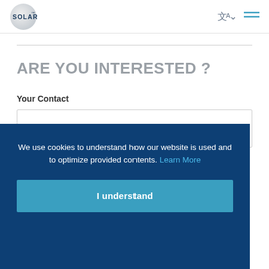SOLARIUS
ARE YOU INTERESTED ?
Your Contact
We use cookies to understand how our website is used and to optimize provided contents. Learn More
I understand